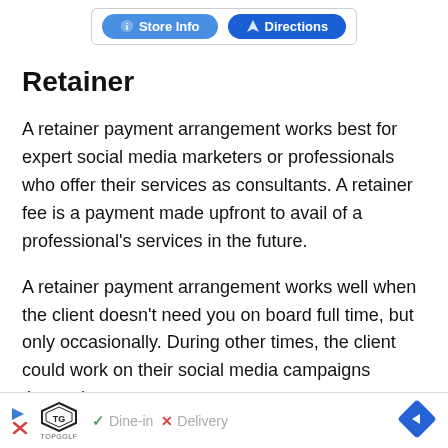[Figure (screenshot): Top bar showing partial Store Info and Directions buttons in blue, inside a bordered container]
Retainer
A retainer payment arrangement works best for expert social media marketers or professionals who offer their services as consultants. A retainer fee is a payment made upfront to avail of a professional's services in the future.
A retainer payment arrangement works well when the client doesn't need you on board full time, but only occasionally. During other times, the client could work on their social media campaigns themselves.
[Figure (screenshot): Bottom advertisement bar for Topgolf showing play icon, Topgolf logo, Dine-in checkmark, Delivery X mark, and blue diamond navigation arrow]